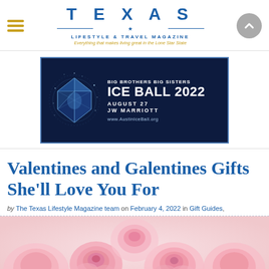TEXAS LIFESTYLE & TRAVEL MAGAZINE — Everything that makes living great in the Lone Star State
[Figure (infographic): Big Brothers Big Sisters Ice Ball 2022 advertisement banner — August 27, JW Marriott, www.AustinIceBall.org]
Valentines and Galentines Gifts She'll Love You For
by The Texas Lifestyle Magazine team on February 4, 2022 in Gift Guides,
[Figure (photo): Pink roses photograph]